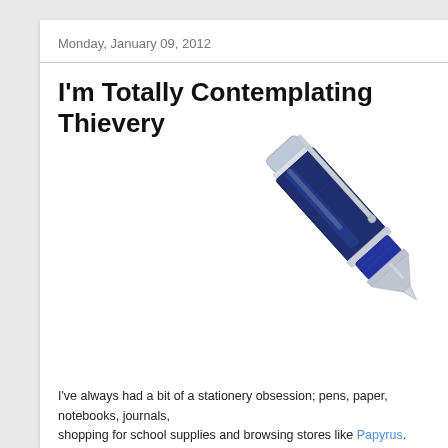Monday, January 09, 2012
I'm Totally Contemplating Thievery
[Figure (photo): A navy blue and silver pen photographed diagonally against a white background, tip pointing toward the lower left.]
I've always had a bit of a stationery obsession; pens, paper, notebooks, journals, shopping for school supplies and browsing stores like Papyrus. Oh the beautiful
I think it must run in the family. Recently, I was using a pen I found at my moth or mine?"